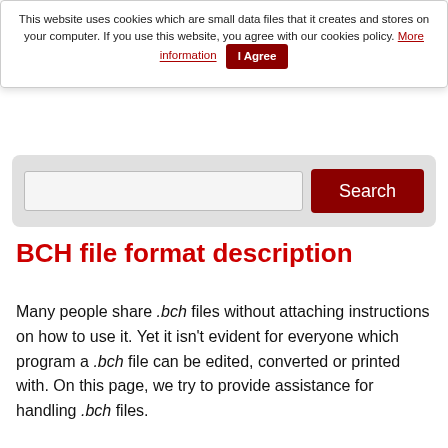This website uses cookies which are small data files that it creates and stores on your computer. If you use this website, you agree with our cookies policy. More information | I Agree
[Figure (screenshot): Search bar with text input field and red Search button on a light grey rounded background]
BCH file format description
Many people share .bch files without attaching instructions on how to use it. Yet it isn't evident for everyone which program a .bch file can be edited, converted or printed with. On this page, we try to provide assistance for handling .bch files.